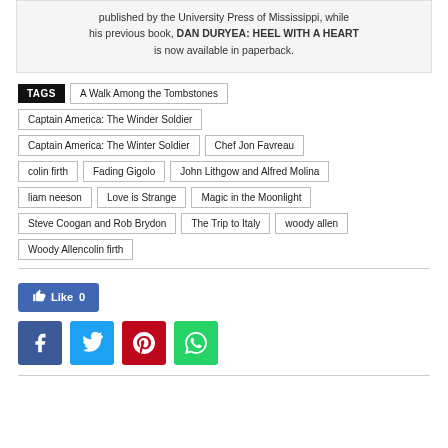published by the University Press of Mississippi, while his previous book, DAN DURYEA: HEEL WITH A HEART is now available in paperback.
TAGS
A Walk Among the Tombstones
Captain America: The Winder Soldier
Captain America: The Winter Soldier
Chef Jon Favreau
colin firth
Fading Gigolo
John Lithgow and Alfred Molina
liam neeson
Love is Strange
Magic in the Moonlight
Steve Coogan and Rob Brydon
The Trip to Italy
woody allen
Woody Allencolin firth
[Figure (infographic): Facebook Like button showing Like 0]
[Figure (infographic): Social share buttons: Facebook, Twitter, Pinterest, WhatsApp]